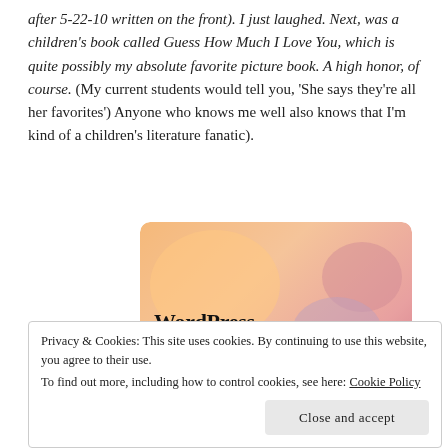after 5-22-10 written on the front). I just laughed. Next, was a children's book called Guess How Much I Love You, which is quite possibly my absolute favorite picture book. A high honor, of course. (My current students would tell you, 'She says they're all her favorites') Anyone who knows me well also knows that I'm kind of a children's literature fanatic).
[Figure (illustration): WordPress banner image with colorful blob shapes on an orange-pink gradient background, with bold text reading 'WordPress in the back.']
Privacy & Cookies: This site uses cookies. By continuing to use this website, you agree to their use.
To find out more, including how to control cookies, see here: Cookie Policy